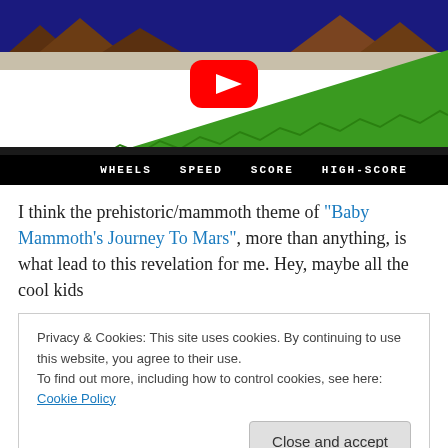[Figure (screenshot): Video game screenshot showing a prehistoric/mammoth themed game with mountains in background, green terrain, game HUD showing WHEELS SPEED SCORE HIGH-SCORE, with a YouTube play button overlay in the center]
I think the prehistoric/mammoth theme of "Baby Mammoth's Journey To Mars", more than anything, is what lead to this revelation for me. Hey, maybe all the cool kids
Privacy & Cookies: This site uses cookies. By continuing to use this website, you agree to their use.
To find out more, including how to control cookies, see here: Cookie Policy
Close and accept
of the screen bringing instant death which forces you to